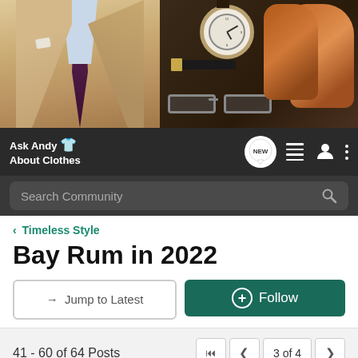[Figure (photo): Banner image showing a man in a beige suit with a purple tie on the left, and men's accessories (watch, leather shoes, sunglasses, belt) on a dark wood background on the right.]
Ask Andy About Clothes — navigation bar with NEW, list, user, and menu icons; Search Community search bar
< Timeless Style
Bay Rum in 2022
→ Jump to Latest
+ Follow
41 - 60 of 64 Posts
3 of 4
Clintotron · Registered 🇺🇸